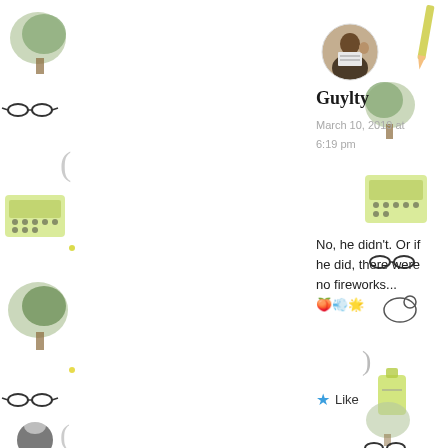[Figure (illustration): Decorative left border with illustrated trees, glasses, parentheses, typewriters, and other small icons in black and yellow-green tones]
[Figure (photo): Circular avatar photo of a man holding a sign]
Guylty
March 10, 2019 at 6:19 pm
No, he didn't. Or if he did, there were no fireworks... 🍑💨🌟
★ Like
[Figure (illustration): Decorative right border with illustrated trees, glasses, typewriters, and other small icons in black and yellow-green tones]